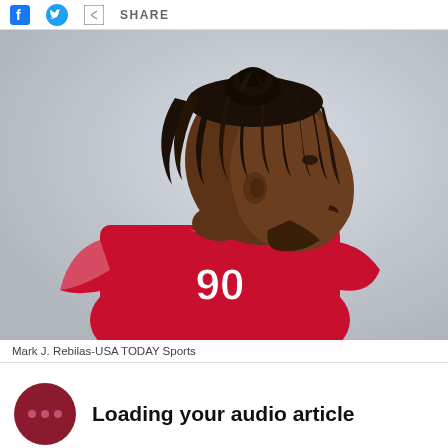f  [twitter bird]  [share icon]  SHARE
[Figure (photo): Football player wearing red jersey number 90, shown from behind/side profile, with dreadlocks, against a light grey background.]
Mark J. Rebilas-USA TODAY Sports
Loading your audio article